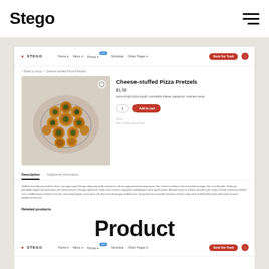Stego
[Figure (screenshot): Screenshot of a food truck website (Stego) showing a product page for Cheese-stuffed Pizza Pretzels priced at $1.50, with product image, description, add to cart button, description tab, and related products section]
Product